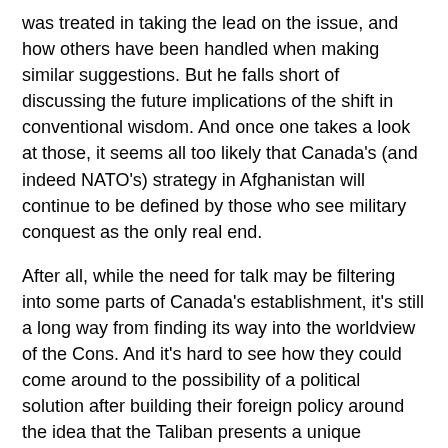was treated in taking the lead on the issue, and how others have been handled when making similar suggestions. But he falls short of discussing the future implications of the shift in conventional wisdom. And once one takes a look at those, it seems all too likely that Canada's (and indeed NATO's) strategy in Afghanistan will continue to be defined by those who see military conquest as the only real end.
After all, while the need for talk may be filtering into some parts of Canada's establishment, it's still a long way from finding its way into the worldview of the Cons. And it's hard to see how they could come around to the possibility of a political solution after building their foreign policy around the idea that the Taliban presents a unique existential threat, such as to justify eliminating Canada's ability to contribute troops to any other mission in the world.
Which means that while cooler heads may be prevailing in the world of think tanks and pundits, there's little chance of them winning out in government as long as the Cons are in power - much as the self-righteousness of the Bush administration has resulted in escalation in Iraq even as